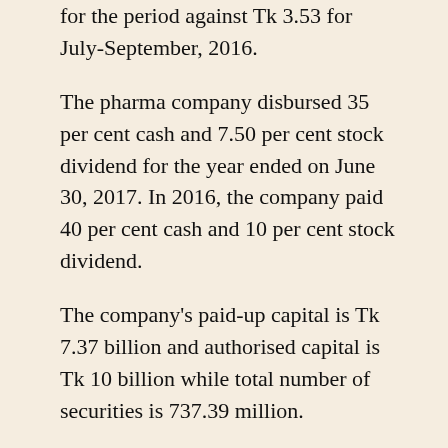for the period against Tk 3.53 for July-September, 2016.
The pharma company disbursed 35 per cent cash and 7.50 per cent stock dividend for the year ended on June 30, 2017. In 2016, the company paid 40 per cent cash and 10 per cent stock dividend.
The company's paid-up capital is Tk 7.37 billion and authorised capital is Tk 10 billion while total number of securities is 737.39 million.
The sponsor-directors own 34.43 per cent stake in the company, institutional investors own 10.35 per cent, foreign stakeholders 19.46 per cent and the general public 35.76 per cent as of December 28, 2017, the DSE data shows.
The Dragon Sweater came next, with shares